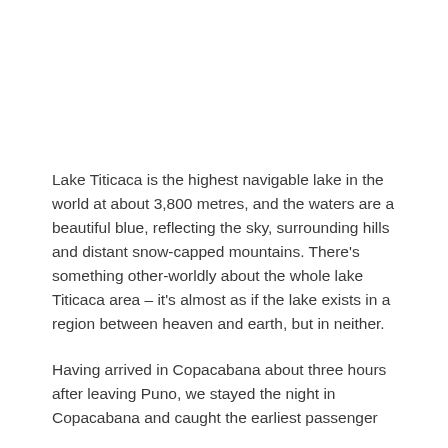Lake Titicaca is the highest navigable lake in the world at about 3,800 metres, and the waters are a beautiful blue, reflecting the sky, surrounding hills and distant snow-capped mountains. There's something other-worldly about the whole lake Titicaca area – it's almost as if the lake exists in a region between heaven and earth, but in neither.
Having arrived in Copacabana about three hours after leaving Puno, we stayed the night in Copacabana and caught the earliest passenger